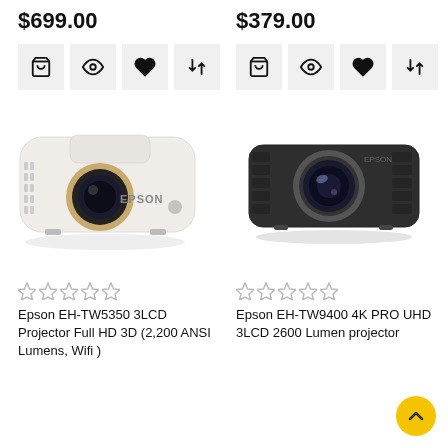$699.00
[Figure (screenshot): Four action icon buttons: cart, eye/view, heart/wishlist, compare arrows]
[Figure (photo): Epson EH-TW5350 white 3LCD projector product image]
[Figure (other): 5 empty star rating icons]
Epson EH-TW5350 3LCD Projector Full HD 3D (2,200 ANSI Lumens, Wifi )
$379.00
[Figure (screenshot): Four action icon buttons: cart, eye/view, heart/wishlist, compare arrows]
[Figure (photo): Epson EH-TW9400 dark grey 4K PRO UHD 3LCD projector product image]
[Figure (other): 5 empty star rating icons]
Epson EH-TW9400 4K PRO UHD 3LCD 2600 Lumen projector